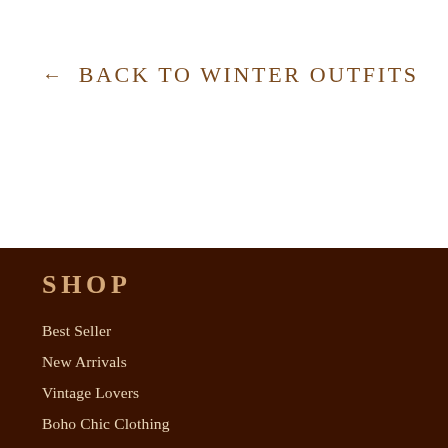← BACK TO WINTER OUTFITS
SHOP
Best Seller
New Arrivals
Vintage Lovers
Boho Chic Clothing
Hippie-Gypsy Style